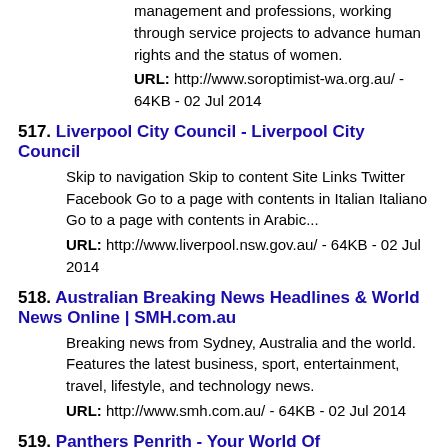management and professions, working through service projects to advance human rights and the status of women. URL: http://www.soroptimist-wa.org.au/ - 64KB - 02 Jul 2014
517. Liverpool City Council - Liverpool City Council
Skip to navigation Skip to content Site Links Twitter Facebook Go to a page with contents in Italian Italiano Go to a page with contents in Arabic...
URL: http://www.liverpool.nsw.gov.au/ - 64KB - 02 Jul 2014
518. Australian Breaking News Headlines & World News Online | SMH.com.au
Breaking news from Sydney, Australia and the world. Features the latest business, sport, entertainment, travel, lifestyle, and technology news.
URL: http://www.smh.com.au/ - 64KB - 02 Jul 2014
519. Panthers Penrith - Your World Of Entertainment